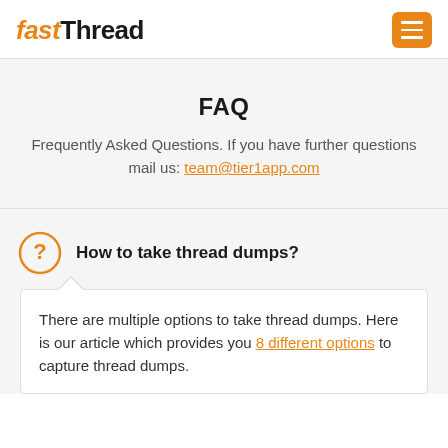fastThread
FAQ
Frequently Asked Questions. If you have further questions mail us: team@tier1app.com
How to take thread dumps?
There are multiple options to take thread dumps. Here is our article which provides you 8 different options to capture thread dumps.